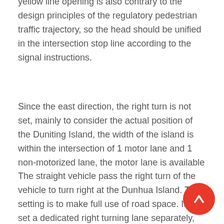yellow line opening is also contrary to the design principles of the regulatory pedestrian traffic trajectory, so the head should be unified in the intersection stop line according to the signal instructions.
Since the east direction, the right turn is not set, mainly to consider the actual position of the Duniting Island, the width of the island is within the intersection of 1 motor lane and 1 non-motorized lane, the motor lane is available The straight vehicle pass the right turn of the vehicle to turn right at the Dunhua Island. This setting is to make full use of road space. If you set a dedicated right turning lane separately, you will be wasting the remaining straight space of the right turn, so the right turn is not set. Lane.
[Figure (other): Red circular floating action button with upward-pointing arrow icon, positioned in bottom-right corner of the page.]